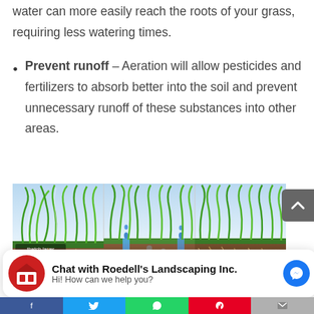water can more easily reach the roots of your grass, requiring less watering times.
Prevent runoff – Aeration will allow pesticides and fertilizers to absorb better into the soil and prevent unnecessary runoff of these substances into other areas.
[Figure (illustration): A cross-sectional diagram showing grass with roots in three panels, with the leftmost panel labeled 'thatch layer', and the middle and right panels showing water and aeration processes with blue water droplets and small circular elements in the soil.]
Chat with Roedell's Landscaping Inc. Hi! How can we help you?